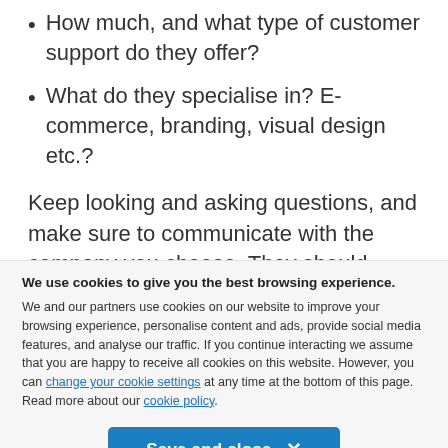How much, and what type of customer support do they offer?
What do they specialise in? E-commerce, branding, visual design etc.?
Keep looking and asking questions, and make sure to communicate with the company you choose. They should know exactly what you want. And you should know what they will do for you. Making the perfect website is a complex process, and you should be involved every step of
We use cookies to give you the best browsing experience.
We and our partners use cookies on our website to improve your browsing experience, personalise content and ads, provide social media features, and analyse our traffic. If you continue interacting we assume that you are happy to receive all cookies on this website. However, you can change your cookie settings at any time at the bottom of this page. Read more about our cookie policy.
Save and close